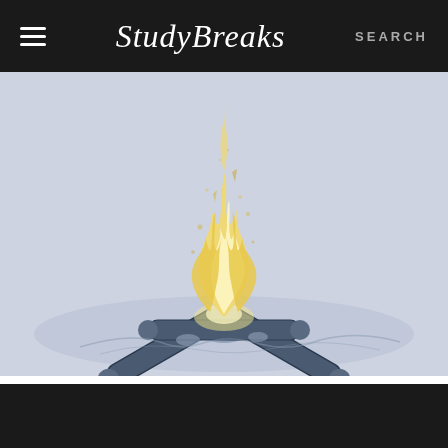Study Breaks  SEARCH
[Figure (illustration): Illustration of a campfire with yellow-cream flames against a light blue-gray background. Logs are arranged in a cross pattern with stones at the base. Embers and sparks float upward.]
PAGES
Three Classic Horror Stories To